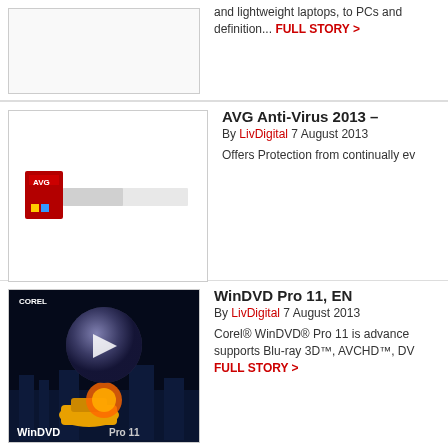[Figure (photo): Partial product image at top of page (cropped, not fully visible)]
and lightweight laptops, to PCs and definition... FULL STORY >
[Figure (photo): AVG Anti-Virus 2013 product box image - red box with logo and a bar graphic]
AVG Anti-Virus 2013 –
By LivDigital 7 August 2013
Offers Protection from continually ev
[Figure (photo): WinDVD Pro 11 product box image with Corel branding, showing a sphere with play button, explosion, car, and city background]
WinDVD Pro 11, EN
By LivDigital 7 August 2013
Corel® WinDVD® Pro 11 is advance supports Blu-ray 3D™, AVCHD™, DV FULL STORY >